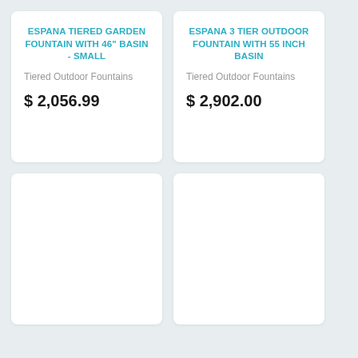ESPANA TIERED GARDEN FOUNTAIN WITH 46" BASIN - SMALL
Tiered Outdoor Fountains
$ 2,056.99
ESPANA 3 TIER OUTDOOR FOUNTAIN WITH 55 INCH BASIN
Tiered Outdoor Fountains
$ 2,902.00